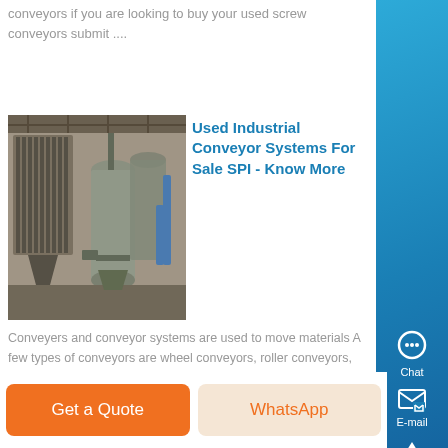conveyors if you are looking to buy your used screw conveyors submit ....
[Figure (photo): Industrial conveyor/dust collection equipment in a facility]
Used Industrial Conveyor Systems For Sale SPI - Know More
Conveyers and conveyor systems are used to move materials A few types of conveyors are wheel conveyors, roller conveyors, roller conveyors, belt conveyors, magnetic conveyors, screw conveyors, pneumatic conveyors, incline conveyors, and vertical conveyorsWheel conveyors, also called gravity wheel conveyors, use skate wheels and are not powered...